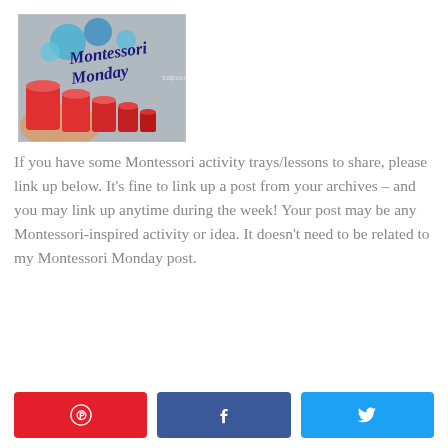[Figure (photo): Montessori Monday logo image showing red cylindrical blocks arranged by a child's hands, with 'Montessori Monday' text in dark blue, and a watermark along the right side]
If you have some Montessori activity trays/lessons to share, please link up below. It's fine to link up a post from your archives – and you may link up anytime during the week! Your post may be any Montessori-inspired activity or idea. It doesn't need to be related to my Montessori Monday post.